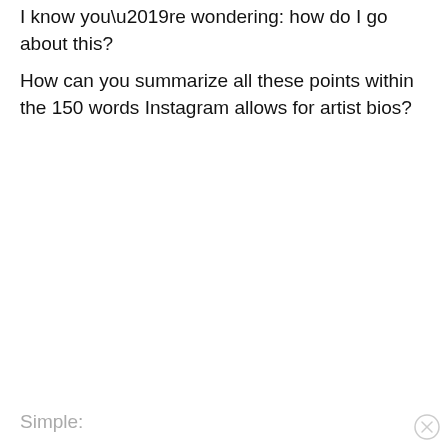I know you’re wondering: how do I go about this?
How can you summarize all these points within the 150 words Instagram allows for artist bios?
Simple: